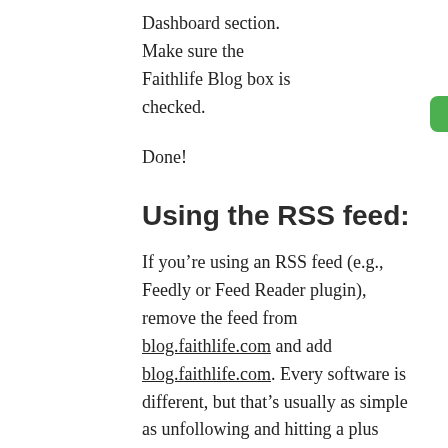Dashboard section. Make sure the Faithlife Blog box is checked.
Done!
Using the RSS feed:
If you’re using an RSS feed (e.g., Feedly or Feed Reader plugin), remove the feed from blog.faithlife.com and add blog.faithlife.com. Every software is different, but that’s usually as simple as unfollowing and hitting a plus sign to add a new link.
By email:
If you’d prefer to have our blog posts delivered by email, hop on blog.faithlife.com, scroll to the Subscribe section in the sidebar, and add